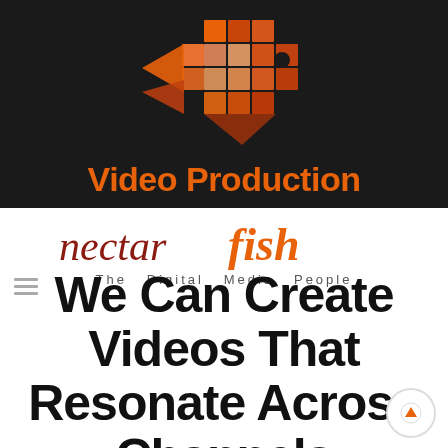[Figure (logo): Nectar Fish fish-shaped mosaic logo made of orange/red grid squares on dark background, with 'Video Production' text in orange below it]
[Figure (logo): Nectar Fish brand logo: 'nectar fish' in dark red stylized text with tagline 'The Digital Media People' below in spaced grey letters]
We Can Create Videos That Resonate Across Channels